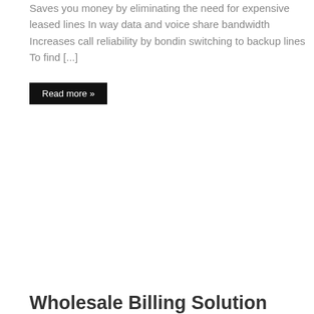Saves you money by eliminating the need for expensive leased lines In way data and voice share bandwidth Increases call reliability by bondin switching to backup lines To find [...]
Read more »
Wholesale Billing Solution